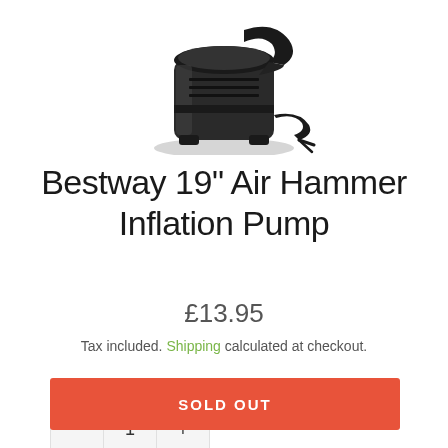[Figure (photo): Black Bestway Air Hammer inflation pump product photo on white background]
Bestway 19" Air Hammer Inflation Pump
£13.95
Tax included. Shipping calculated at checkout.
QUANTITY
1
SOLD OUT